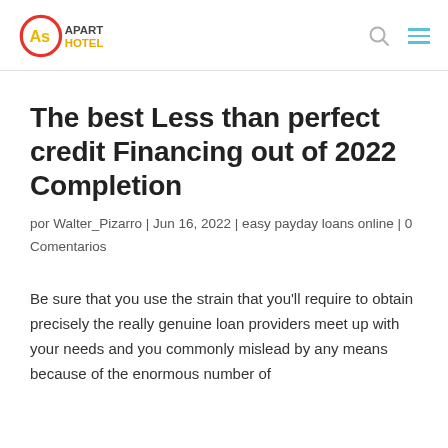AS Apart Hotel
The best Less than perfect credit Financing out of 2022 Completion
por Walter_Pizarro | Jun 16, 2022 | easy payday loans online | 0 Comentarios
Be sure that you use the strain that you'll require to obtain precisely the really genuine loan providers meet up with your needs and you commonly mislead by any means because of the enormous number of